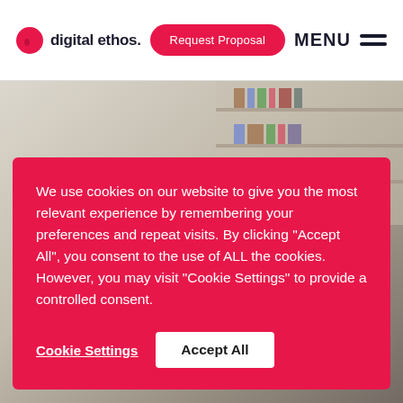digital ethos. | Request Proposal | MENU
[Figure (screenshot): Hero background image showing people working at a desk with bookshelves in the background, overlaid with large text 'Marketing Consultancy']
We use cookies on our website to give you the most relevant experience by remembering your preferences and repeat visits. By clicking “Accept All”, you consent to the use of ALL the cookies. However, you may visit “Cookie Settings” to provide a controlled consent.
Cookie Settings | Accept All
Marketing Consultancy
3 min read